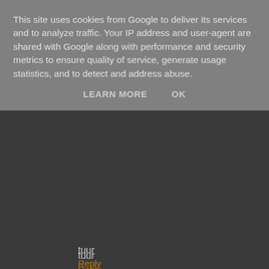This site uses cookies from Google to deliver its services and to analyze traffic. Your IP address and user-agent are shared with Google along with performance and security metrics to ensure quality of service, generate usage statistics, and to detect and address abuse.
LEARN MORE   OK
tuur
Reply
Sheepo  13 May, 2012 23:45
I have update the text about that, read it again!!;)
Reply
My Land Rover has a Soul  14 May, 2012 14:21
Wow, that is SO awesome! You should come to our Landy